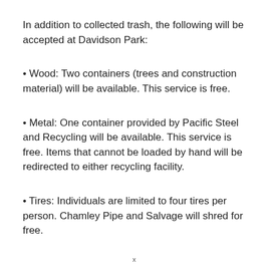In addition to collected trash, the following will be accepted at Davidson Park:
• Wood: Two containers (trees and construction material) will be available. This service is free.
• Metal: One container provided by Pacific Steel and Recycling will be available. This service is free. Items that cannot be loaded by hand will be redirected to either recycling facility.
• Tires: Individuals are limited to four tires per person. Chamley Pipe and Salvage will shred for free.
x